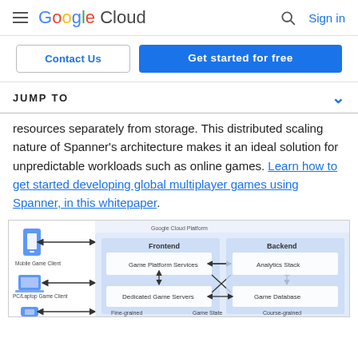Google Cloud  Sign in
Contact Us | Get started for free
JUMP TO
resources separately from storage. This distributed scaling nature of Spanner's architecture makes it an ideal solution for unpredictable workloads such as online games. Learn how to get started developing global multiplayer games using Spanner, in this whitepaper.
[Figure (schematic): Architecture diagram showing Google Cloud Platform with Frontend and Backend sections. Frontend contains Game Platform Services and Dedicated Game Servers. Backend contains Analytics Stack and Game Database. Left side shows Mobile Game Client, PC/Laptop Game Client with bidirectional arrows connecting to Frontend.]